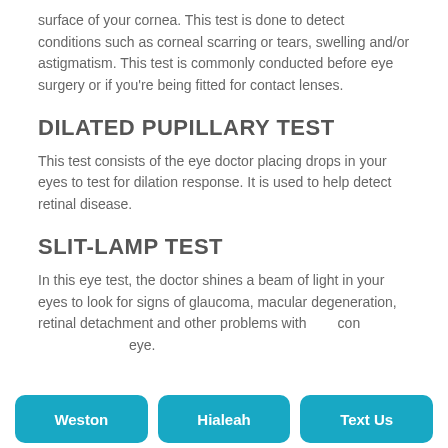surface of your cornea. This test is done to detect conditions such as corneal scarring or tears, swelling and/or astigmatism. This test is commonly conducted before eye surgery or if you're being fitted for contact lenses.
DILATED PUPILLARY TEST
This test consists of the eye doctor placing drops in your eyes to test for dilation response. It is used to help detect retinal disease.
SLIT-LAMP TEST
In this eye test, the doctor shines a beam of light in your eyes to look for signs of glaucoma, macular degeneration, retinal detachment and other problems with the cornea, con[...] eye.
Weston | Hialeah | Text Us